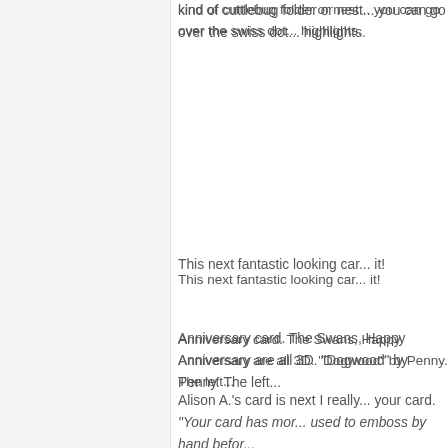kind of cuttlebug folder or nest... you can go over the swiss dot... highlights.
This next fantastic looking car... it!
Anniversary card. The Swans, Happy Anniversary are all 3D. "Dogwood" by Penny. The left...
Alison A.'s card is next I really... your card. "Your card has mor... used to emboss by hand befor...